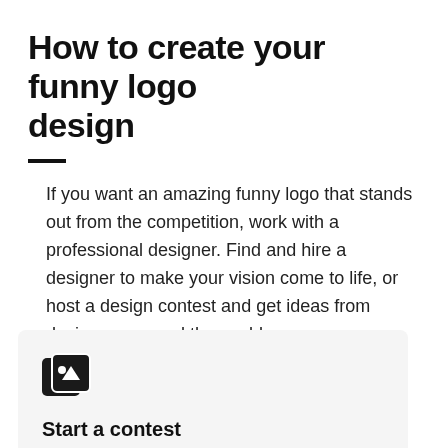How to create your funny logo design
If you want an amazing funny logo that stands out from the competition, work with a professional designer. Find and hire a designer to make your vision come to life, or host a design contest and get ideas from designers around the world.
Start a contest
Designers from around the world pitch you ideas. You provide feedback, hone your